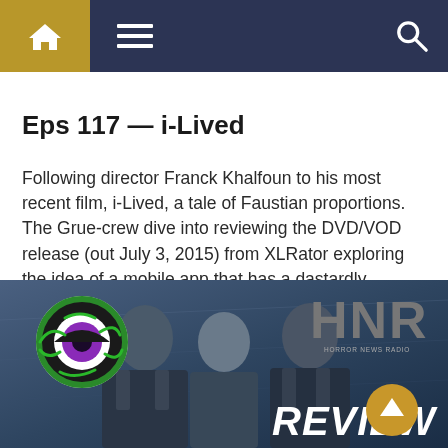Navigation bar with home, menu, and search icons
Eps 117 — i-Lived
Following director Franck Khalfoun to his most recent film, i-Lived, a tale of Faustian proportions. The Grue-crew dive into reviewing the DVD/VOD release (out July 3, 2015) from XLRator exploring the idea of a mobile app that has a dastardly, devilish agenda. Poor Josh (Jeremiah Watkins) has no idea what he is in store for. [...]
[Figure (photo): Horror News Radio Review image showing three people (two men and a woman) with HNR (Horror News Radio) Review logo and an eye logo on the left]